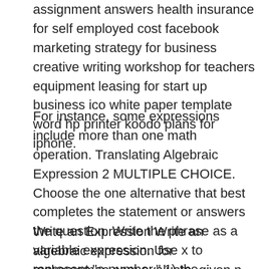assignment answers health insurance for self employed cost facebook marketing strategy for business creative writing workshop for teachers equipment leasing for start up business ico white paper template word hp printer koodo plans for iphone.
For instance, some expressions include more than one math operation. Translating Algebraic Expression 2 MULTIPLE CHOICE. Choose the one alternative that best completes the statement or answers the question. Write the phrase as a variable expression. Use x to represent "a number." 1) the difference of Five and a number 1) A) 5 x B) 5 - x C) x - 5 D) 5 x 2) The quotient of 38 times a number and -4 2).
Write an Expression Write an algebraic expression for makomamoa.com evaluate, given n 1. more than n 2. 7 1 2 less than n 3. 5 more than the difference of n minus